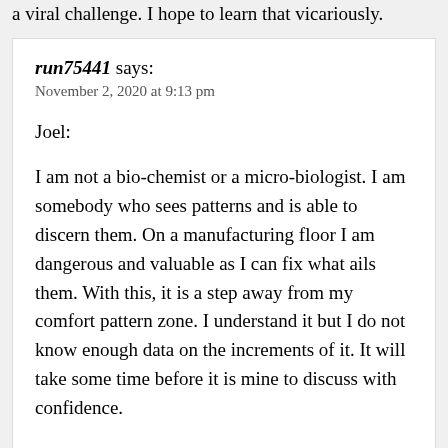a viral challenge. I hope to learn that vicariously.
run75441 says:
November 2, 2020 at 9:13 pm

Joel:

I am not a bio-chemist or a micro-biologist. I am somebody who sees patterns and is able to discern them. On a manufacturing floor I am dangerous and valuable as I can fix what ails them. With this, it is a step away from my comfort pattern zone. I understand it but I do not know enough data on the increments of it. It will take some time before it is mine to discuss with confidence.

Do not test the theorem. It is to open to mistake
Do not test the theorem. It is to open to mistake